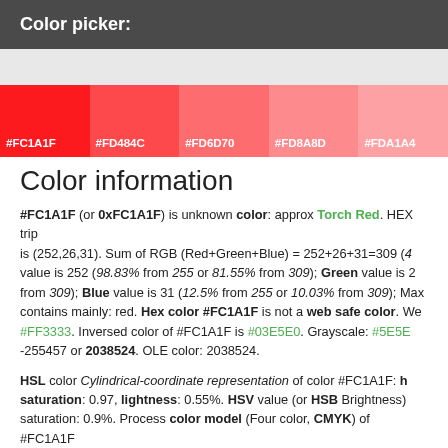Color picker:
[Figure (infographic): Color strip showing shades of red: #FC1A1F, #FD484C, #FD6D70, #FD8A8D, #FDA1A4]
Color information
#FC1A1F (or 0xFC1A1F) is unknown color: approx Torch Red. HEX trip is (252,26,31). Sum of RGB (Red+Green+Blue) = 252+26+31=309 (4 value is 252 (98.83% from 255 or 81.55% from 309); Green value is 2 from 309); Blue value is 31 (12.5% from 255 or 10.03% from 309); Max contains mainly: red. Hex color #FC1A1F is not a web safe color. We #FF3333. Inversed color of #FC1A1F is #03E5E0. Grayscale: #5E5E -255457 or 2038524. OLE color: 2038524.
HSL color Cylindrical-coordinate representation of color #FC1A1F: h saturation: 0.97, lightness: 0.55%. HSV value (or HSB Brightness) saturation: 0.9%. Process color model (Four color, CMYK) of #FC1A1F Yellow = 0.88 and Black (K on CMYK) = 0.01.